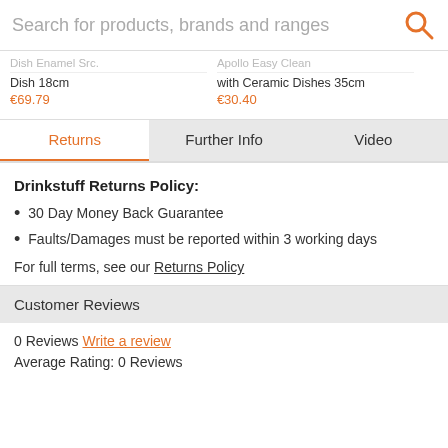Search for products, brands and ranges
Dish 18cm €69.79 | Apollo Easy Clean with Ceramic Dishes 35cm €30.40
Returns | Further Info | Video
Drinkstuff Returns Policy:
30 Day Money Back Guarantee
Faults/Damages must be reported within 3 working days
For full terms, see our Returns Policy
Customer Reviews
0 Reviews Write a review
Average Rating: 0 Reviews